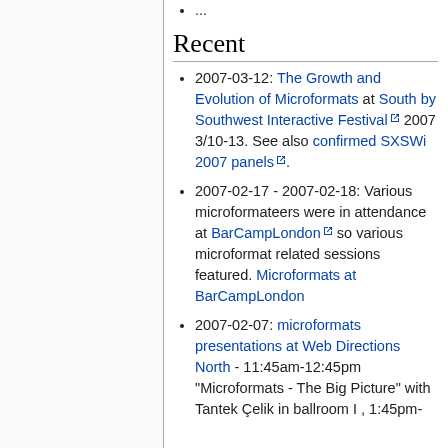...
Recent
2007-03-12: The Growth and Evolution of Microformats at South by Southwest Interactive Festival 2007 3/10-13. See also confirmed SXSWi 2007 panels.
2007-02-17 - 2007-02-18: Various microformateers were in attendance at BarCampLondon so various microformat related sessions featured. Microformats at BarCampLondon
2007-02-07: microformats presentations at Web Directions North - 11:45am-12:45pm "Microformats - The Big Picture" with Tantek Çelik in ballroom I , 1:45pm-